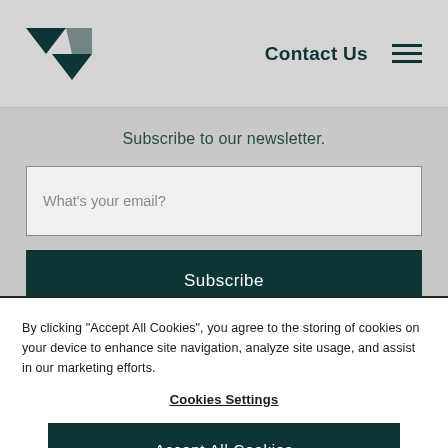Contact Us
Subscribe to our newsletter.
What's your email?
Subscribe
By clicking "Accept All Cookies", you agree to the storing of cookies on your device to enhance site navigation, analyze site usage, and assist in our marketing efforts.
Cookies Settings
Accept All Cookies